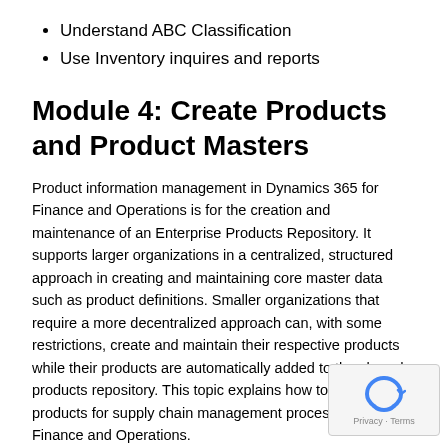Understand ABC Classification
Use Inventory inquires and reports
Module 4: Create Products and Product Masters
Product information management in Dynamics 365 for Finance and Operations is for the creation and maintenance of an Enterprise Products Repository. It supports larger organizations in a centralized, structured approach in creating and maintaining core master data such as product definitions. Smaller organizations that require a more decentralized approach can, with some restrictions, create and maintain their respective products while their products are automatically added to the shared products repository. This topic explains how to configure products for supply chain management processes in Finance and Operations.
Lessons
Introduction